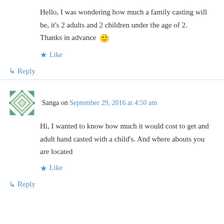Hello, I was wondering how much a family casting will be, it's 2 adults and 2 children under the age of 2.
Thanks in advance 🙂
★ Like
↳ Reply
Sanga on September 29, 2016 at 4:50 am
Hi, I wanted to know how much it would cost to get and adult hand casted with a child's. And where abouts you are located
★ Like
↳ Reply